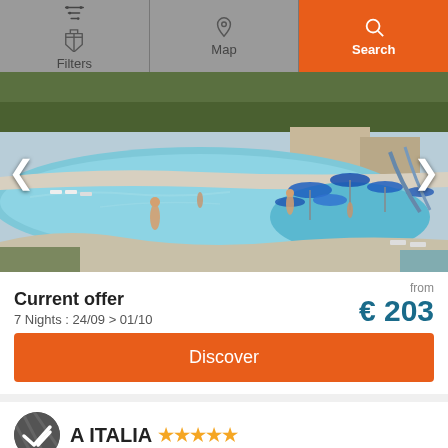Filters | Map | Search
[Figure (photo): Water park pool area with blue umbrellas, slides, and people swimming]
Current offer
7 Nights : 24/09 > 01/10
from € 203
Discover
A ITALIA ★★★★★
Veneto | Peschiera del Garda
7.4/10 (481 Reviews)
[Figure (logo): Vacanceselect enjoy outdoors logo]